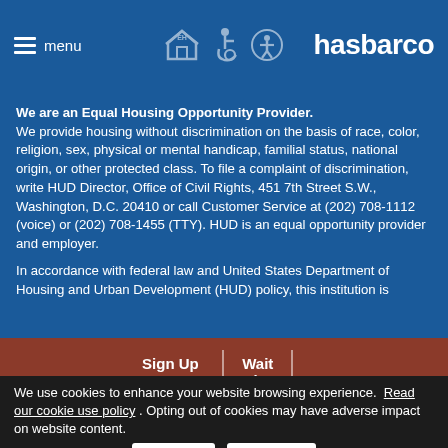menu | hasbarco
We are an Equal Housing Opportunity Provider. We provide housing without discrimination on the basis of race, color, religion, sex, physical or mental handicap, familial status, national origin, or other protected class. To file a complaint of discrimination, write HUD Director, Office of Civil Rights, 451 7th Street S.W., Washington, D.C. 20410 or call Customer Service at (202) 708-1112 (voice) or (202) 708-1455 (TTY). HUD is an equal opportunity provider and employer.
In accordance with federal law and United States Department of Housing and Urban Development (HUD) policy, this institution is
Sign Up For News | Wait List
We use cookies to enhance your website browsing experience. Read our cookie use policy . Opting out of cookies may have adverse impact on website content.
Accept | Opt Out